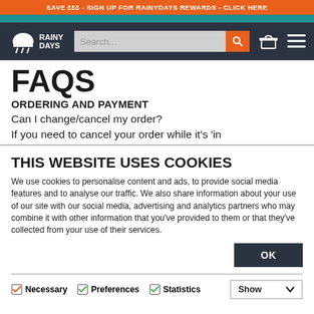SAVE £££ - SIGN UP FOR RAINYDAYS REWARDS - CLICK HERE
[Figure (logo): Rainy Days logo with cloud icon and search bar navigation]
FAQS
ORDERING AND PAYMENT
Can I change/cancel my order?
If you need to cancel your order while it's 'in
THIS WEBSITE USES COOKIES
We use cookies to personalise content and ads, to provide social media features and to analyse our traffic. We also share information about your use of our site with our social media, advertising and analytics partners who may combine it with other information that you've provided to them or that they've collected from your use of their services.
OK
Necessary  Preferences  Statistics  Show